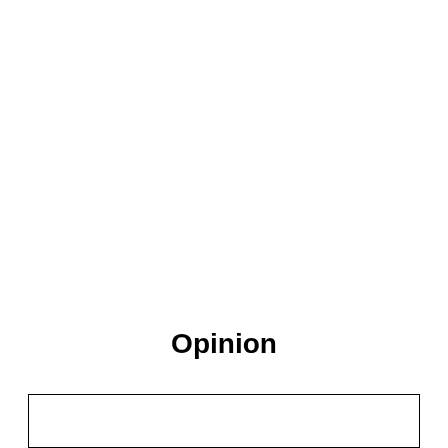Opinion
[Figure (other): Empty bordered rectangle at the bottom of the page]